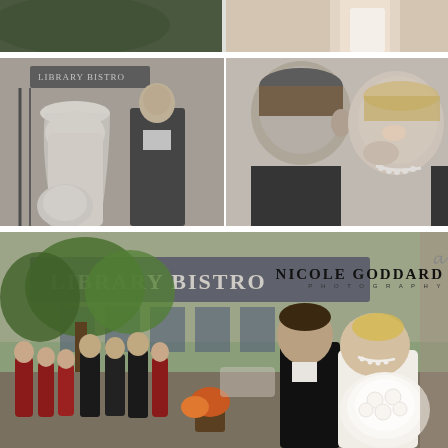[Figure (photo): Top strip showing partial wedding photo — bride in white dress holding white bouquet, partial view]
[Figure (photo): Black and white photo of bride with veil from behind and groom in tuxedo looking at her, Library Bistro sign visible in background]
[Figure (photo): Black and white close-up photo of bride and groom touching foreheads, laughing, bride wearing pearl necklace]
[Figure (photo): Color photo outside Library Bistro restaurant: wedding party with bridesmaids in red dresses on left, groom kissing bride holding large white bouquet on right, Nicole Goddard Photography watermark overlay]
NICOLE GODDARD
PHOTOGRAPHY